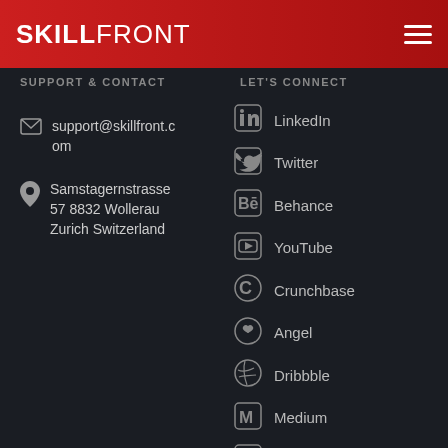SKILLFRONT
SUPPORT & CONTACT
LET'S CONNECT
support@skillfront.com
Samstagernstrasse 57 8832 Wollerau Zurich Switzerland
LinkedIn
Twitter
Behance
YouTube
Crunchbase
Angel
Dribbble
Medium
Facebook
Instagram